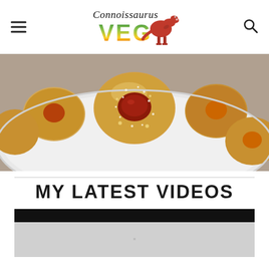Connoissaurus VEG
[Figure (photo): Close-up photo of thumbprint cookies coated in sugar, filled with jam (red/cranberry in center), arranged on a white plate]
MY LATEST VIDEOS
[Figure (screenshot): Video thumbnail preview area, mostly dark/black top bar and light grey content below]